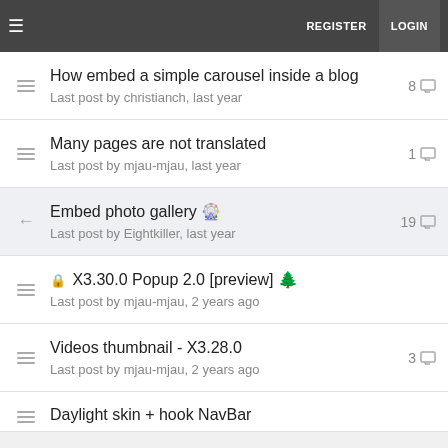REGISTER  LOGIN
How embed a simple carousel inside a blog
Last post by christianch, last year
8
Many pages are not translated
Last post by mjau-mjau, last year
1
Embed photo gallery 🎪
Last post by Eightkiller, last year
19
🔒 X3.30.0 Popup 2.0 [preview] 🌲
Last post by mjau-mjau, 2 years ago
Videos thumbnail - X3.28.0
Last post by mjau-mjau, 2 years ago
3
Daylight skin + hook NavBar